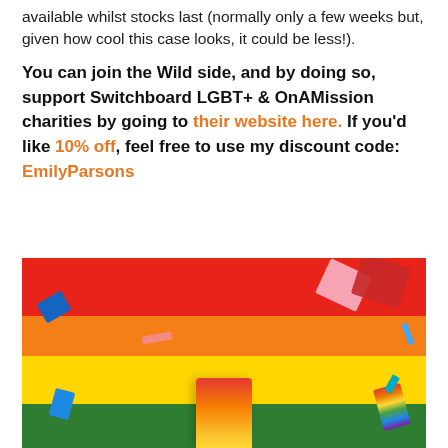available whilst stocks last (normally only a few weeks but, given how cool this case looks, it could be less!).
You can join the Wild side, and by doing so, support Switchboard LGBT+ & OnAMission charities by going to their website here. If you'd like 10% off, feel free to use my discount code: EmilyParsons
[Figure (photo): Rainbow-striped background (red, orange, yellow, green bands) with colorful confetti pieces scattered around and a rainbow-colored deodorant/lip balm stick centered at the bottom.]